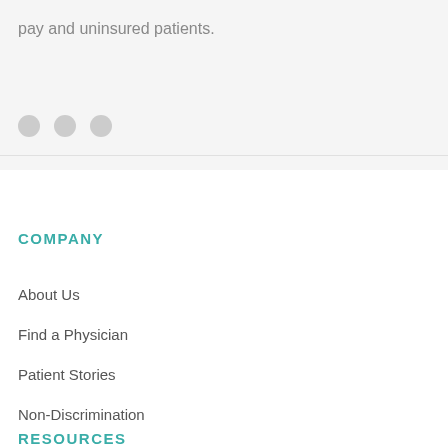pay and uninsured patients.
[Figure (other): Three grey dots in a row, likely pagination or carousel indicators]
COMPANY
About Us
Find a Physician
Patient Stories
Non-Discrimination
RESOURCES